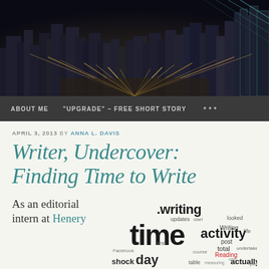[Figure (photo): Dark city skyline at night with light trails and skyscrapers, used as website header image]
ABOUT ME   "UPGRADE" – FREE SHORT STORY   ...
APRIL 3, 2013 BY ANNA L. DAVIS
Writer, Undercover: Finding Time to Write
As an editorial intern at Henery
[Figure (infographic): Word cloud featuring words: writing, time, day, activity, shock, updates, total, post, Reading, actually, Writing, table, looked, measuring, use, life, undertake, one, Facebook, course, start, posts]